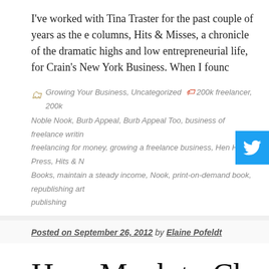I've worked with Tina Traster for the past couple of years as the e columns, Hits & Misses, a chronicle of the dramatic highs and low entrepreneurial life, for Crain's New York Business. When I founc
Growing Your Business, Uncategorized 🔖 200k freelancer, 200k
Noble Nook, Burb Appeal, Burb Appeal Too, business of freelance writin freelancing for money, growing a freelance business, Hen House Press, Hits & Books, maintain a steady income, Nook, print-on-demand book, republishing art publishing
Posted on September 26, 2012 by Elaine Pofeldt
How Much to Charge for R